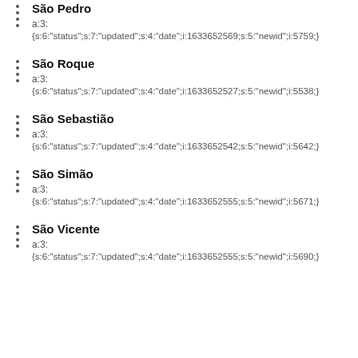São Pedro
a:3:
{s:6:"status";s:7:"updated";s:4:"date";i:1633652569;s:5:"newid";i:5759;}
São Roque
a:3:
{s:6:"status";s:7:"updated";s:4:"date";i:1633652527;s:5:"newid";i:5538;}
São Sebastião
a:3:
{s:6:"status";s:7:"updated";s:4:"date";i:1633652542;s:5:"newid";i:5642;}
São Simão
a:3:
{s:6:"status";s:7:"updated";s:4:"date";i:1633652555;s:5:"newid";i:5671;}
São Vicente
a:3:
{s:6:"status";s:7:"updated";s:4:"date";i:1633652555;s:5:"newid";i:5690;}